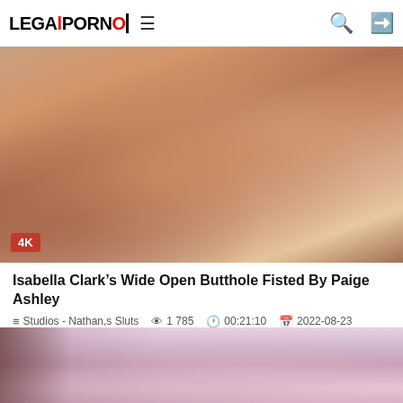LegalPorno navigation bar with logo, hamburger menu, search icon, and login icon
[Figure (photo): Thumbnail image for adult video showing close-up skin tones with a red 4K badge overlay in bottom-left corner]
Isabella Clark’s Wide Open Butthole Fisted By Paige Ashley
Studios - Nathan,s Sluts   1 785   00:21:10   2022-08-23
[Figure (photo): Partial thumbnail of a second adult video showing pink/purple tones with dark hair visible on the left side]